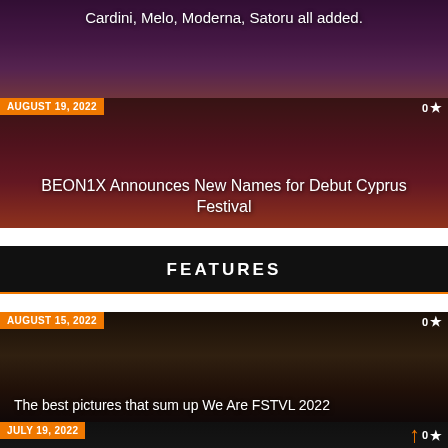[Figure (photo): Festival article card with colorful skull/flowers imagery, date badge August 19 2022, star count 0]
Cardini, Melo, Moderna, Satoru all added.
AUGUST 19, 2022
BEON1X Announces New Names for Debut Cyprus Festival
FEATURES
[Figure (photo): Festival lights article card dark background, date badge August 15 2022, star count 0]
The best pictures that sum up We Are FSTVL 2022
[Figure (photo): Dark article card, date badge July 19 2022, star count 0 with orange arrow]
Location, Location, Location - check the 3 locations for Family Piknik this summer